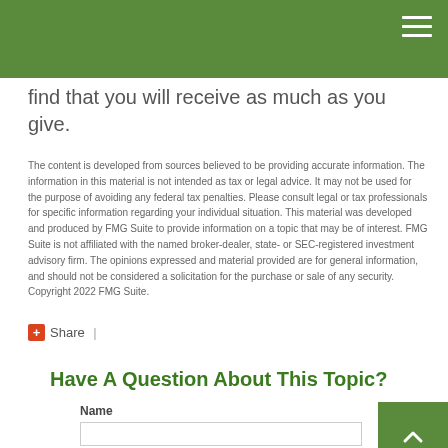find that you will receive as much as you give.
The content is developed from sources believed to be providing accurate information. The information in this material is not intended as tax or legal advice. It may not be used for the purpose of avoiding any federal tax penalties. Please consult legal or tax professionals for specific information regarding your individual situation. This material was developed and produced by FMG Suite to provide information on a topic that may be of interest. FMG Suite is not affiliated with the named broker-dealer, state- or SEC-registered investment advisory firm. The opinions expressed and material provided are for general information, and should not be considered a solicitation for the purchase or sale of any security. Copyright 2022 FMG Suite.
Share |
Have A Question About This Topic?
Name